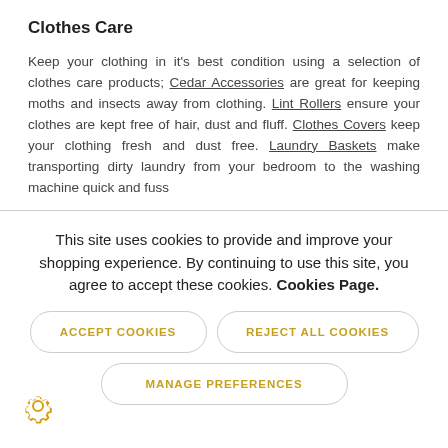Clothes Care
Keep your clothing in it's best condition using a selection of clothes care products; Cedar Accessories are great for keeping moths and insects away from clothing. Lint Rollers ensure your clothes are kept free of hair, dust and fluff. Clothes Covers keep your clothing fresh and dust free. Laundry Baskets make transporting dirty laundry from your bedroom to the washing machine quick and fuss
This site uses cookies to provide and improve your shopping experience. By continuing to use this site, you agree to accept these cookies. Cookies Page.
ACCEPT COOKIES
REJECT ALL COOKIES
MANAGE PREFERENCES